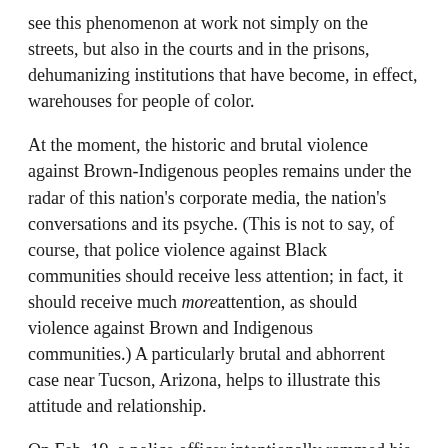see this phenomenon at work not simply on the streets, but also in the courts and in the prisons, dehumanizing institutions that have become, in effect, warehouses for people of color.
At the moment, the historic and brutal violence against Brown-Indigenous peoples remains under the radar of this nation's corporate media, the nation's conversations and its psyche. (This is not to say, of course, that police violence against Black communities should receive less attention; in fact, it should receive much more attention, as should violence against Brown and Indigenous communities.) A particularly brutal and abhorrent case near Tucson, Arizona, helps to illustrate this attitude and relationship.
On Feb. 19, a police officer intentionally rammed his fast-speeding police vehicle into an armed and wanted suspect, Mario Miranda Valencia, from behind, sending him hurtling through the air. The suspect survived. After the